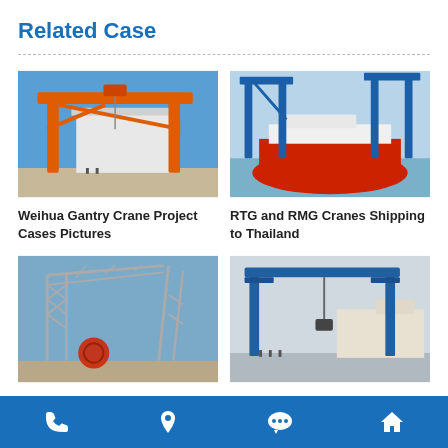Related Case
[Figure (photo): Orange gantry crane over large industrial structure under blue sky — Weihua Gantry Crane project]
Weihua Gantry Crane Project Cases Pictures
[Figure (photo): Blue RTG/RMG crane over red and white ship at port — RTG and RMG Cranes Shipping to Thailand]
RTG and RMG Cranes Shipping to Thailand
[Figure (photo): Lattice girder gantry crane structure with circular component, against blue sky]
Lattice Girder Gantry Crane…
[Figure (photo): Blue RTG crane on dock with ship in background — Weihua RTG Crane Cases]
Weihua RTG Crane Cases…
Phone | Location | Chat | Home